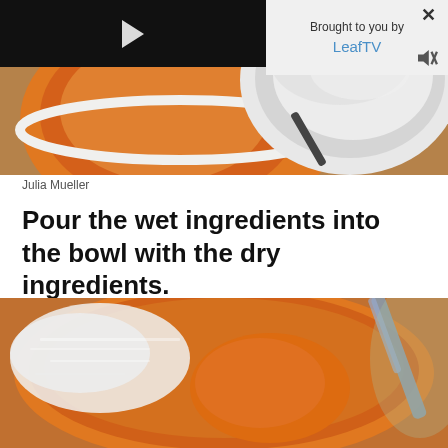[Figure (photo): Top-down view of a bowl with orange pumpkin puree on the left and a bowl of flour/dry ingredients on the right, on a wooden surface. A video player overlay is shown on the upper-left, and a 'Brought to you by LeafTV' promotional banner is on the upper-right.]
Julia Mueller
Pour the wet ingredients into the bowl with the dry ingredients.
[Figure (photo): Close-up photo of a glass bowl containing orange pumpkin batter mixed with white flour, with a blue/grey spatula or spoon visible on the right side.]